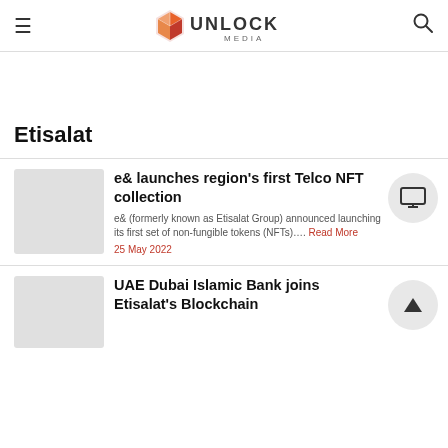Unlock Media — navigation header with hamburger menu, logo, and search icon
Etisalat
e& launches region's first Telco NFT collection
e& (formerly known as Etisalat Group) announced launching its first set of non-fungible tokens (NFTs)....
25 May 2022
UAE Dubai Islamic Bank joins Etisalat's Blockchain